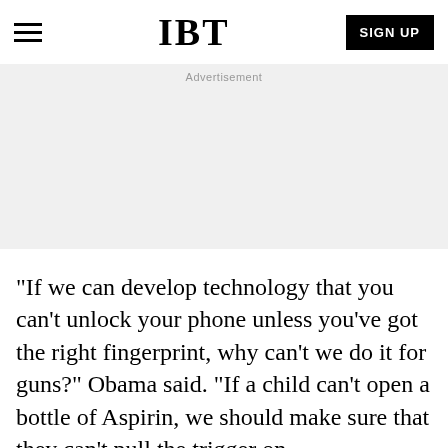IBT
[Figure (other): Advertisement placeholder area with grey background]
“If we can develop technology that you can’t unlock your phone unless you’ve got the right fingerprint, why can’t we do it for guns?” Obama said. “If a child can’t open a bottle of Aspirin, we should make sure that they can’t pull the trigger on